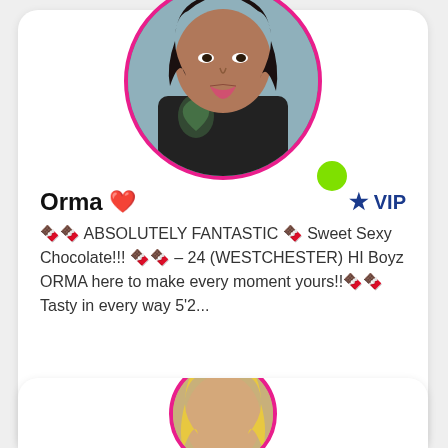[Figure (photo): Circular profile photo of a woman with dark hair and visible tattoos, framed with a pink/magenta border circle. A green online indicator dot is visible in the lower right of the circle.]
Orma ♥  ★ VIP
🍫🍫 ABSOLUTELY FANTASTIC 🍫 Sweet Sexy Chocolate!!! 🍫🍫 – 24 (WESTCHESTER) HI Boyz ORMA here to make every moment yours!!🍫🍫 Tasty in every way 5'2...
View Profile
[Figure (photo): Partial circular profile photo of a second person (blonde hair visible), cropped at the bottom of the page.]